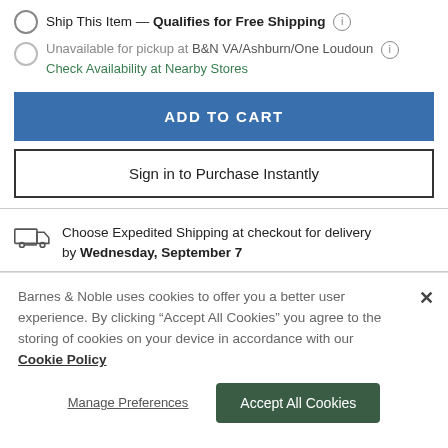Ship This Item — Qualifies for Free Shipping
Unavailable for pickup at B&N VA/Ashburn/One Loudoun
Check Availability at Nearby Stores
ADD TO CART
Sign in to Purchase Instantly
Choose Expedited Shipping at checkout for delivery by Wednesday, September 7
Barnes & Noble uses cookies to offer you a better user experience. By clicking "Accept All Cookies" you agree to the storing of cookies on your device in accordance with our Cookie Policy
Manage Preferences
Accept All Cookies